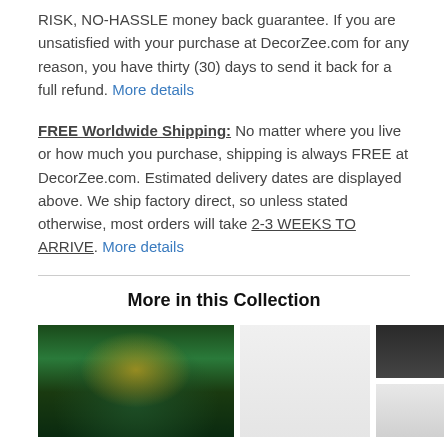RISK, NO-HASSLE money back guarantee. If you are unsatisfied with your purchase at DecorZee.com for any reason, you have thirty (30) days to send it back for a full refund. More details
FREE Worldwide Shipping: No matter where you live or how much you purchase, shipping is always FREE at DecorZee.com. Estimated delivery dates are displayed above. We ship factory direct, so unless stated otherwise, most orders will take 2-3 WEEKS TO ARRIVE. More details
More in this Collection
[Figure (photo): Fantasy forest wall art canvas print with glowing magical tree and waterfall]
[Figure (photo): Gray sofa/couch with pillows and a round fabric swatch circle]
[Figure (photo): Two small product images: dark navy sofa cover and light room interior]